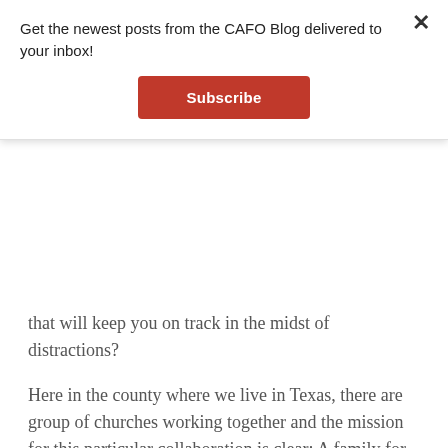Get the newest posts from the CAFO Blog delivered to your inbox!
Subscribe
that will keep you on track in the midst of distractions?
Here in the county where we live in Texas, there are group of churches working together and the mission for this particular collaboration is clear: A family for every waiting child in the county (that’s 60 kids).
Whether you are an agency, service organization, church orphan/foster care ministry, or community collaboration of multiple organizations and churches, without a clear and simple mission, it’s just too easy to get distracted. Here are few things to do or discuss